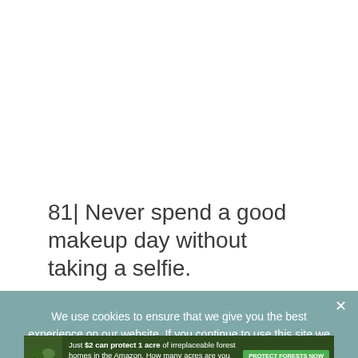81| Never spend a good makeup day without taking a selfie.
82| Confidence level: selfie with no filter.
We use cookies to ensure that we give you the best experience on our website. If you continue to use this site we will assume that you are happy with it.
[Figure (infographic): Advertisement banner: 'Just $2 can protect 1 acre of irreplaceable forest homes in the Amazon. How many acres are you willing to protect?' with a green PROTECT FORESTS NOW button and a forest/animal image on the left.]